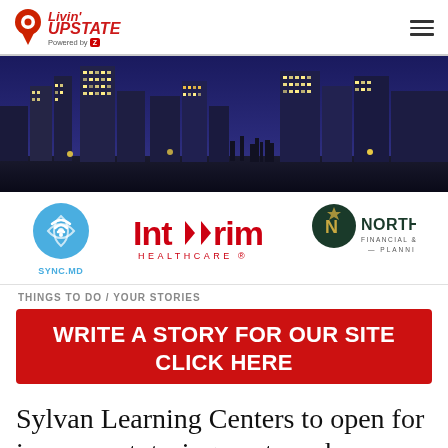Livin' Upstate – Powered by [logo]
[Figure (photo): Night cityscape skyline of Upstate South Carolina, purple/blue sky, city buildings lit up]
[Figure (logo): Three sponsor logos: SYNC.MD (blue circle with wifi/heart icon), Interim HealthCare (red text), NorthStar Financial & Retirement Planning (dark green circle with N logo)]
THINGS TO DO / YOUR STORIES
[Figure (infographic): Red banner button: WRITE A STORY FOR OUR SITE CLICK HERE]
Sylvan Learning Centers to open for in-person tutoring next week